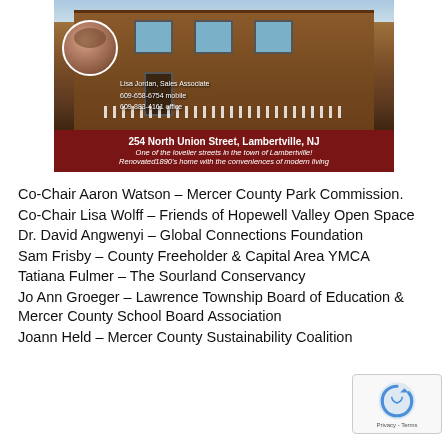[Figure (photo): Real estate advertisement showing a brick Victorian-style home at 254 North Union Street, Lambertville, NJ, with a circular headshot of agent Lisa Jordan, Sales Associate, and contact information 609-658-6754 mobile, 609-883-4161 office. Dark red banner at bottom with property address and description.]
Co-Chair Aaron Watson – Mercer County Park Commission.
Co-Chair Lisa Wolff – Friends of Hopewell Valley Open Space
Dr. David Angwenyi – Global Connections Foundation
Sam Frisby – County Freeholder & Capital Area YMCA
Tatiana Fulmer – The Sourland Conservancy
Jo Ann Groeger – Lawrence Township Board of Education & Mercer County School Board Association
Joann Held – Mercer County Sustainability Coalition